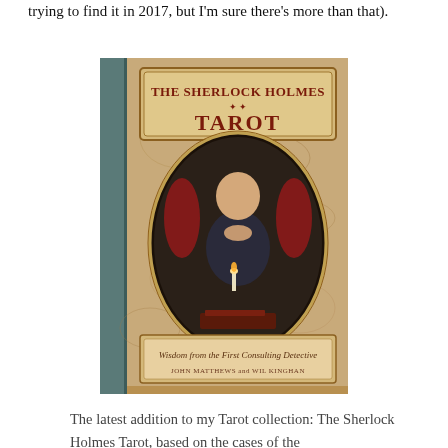trying to find it in 2017, but I'm sure there's more than that).
[Figure (photo): Book cover of 'The Sherlock Holmes Tarot' by John Matthews and Wil Kinghan. Features an illustration of Sherlock Holmes seated in a chair with hands clasped, surrounded by candles and books, in an oval frame on a marbled background. Subtitle reads 'Wisdom from the First Consulting Detective'.]
The latest addition to my Tarot collection: The Sherlock Holmes Tarot, based on the cases of the